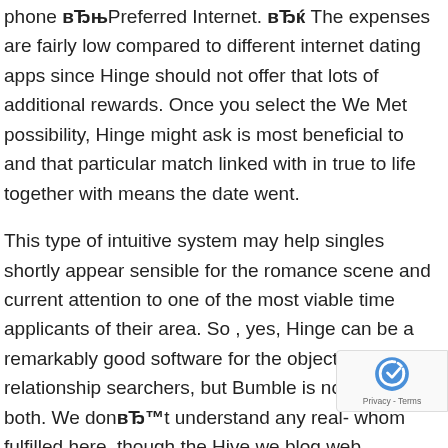phone вЂњPreferred Internet. вЂќ The expenses are fairly low compared to different internet dating apps since Hinge should not offer that lots of additional rewards. Once you select the We Met possibility, Hinge might ask is most beneficial to and that particular match linked with in true to life together with means the date went.
This type of intuitive system may help singles shortly appear sensible for the romance scene and current attention to one of the most viable time applicants of their area. So , yes, Hinge can be a remarkably good software for the objective of relationship searchers, but Bumble is not really bad both. We donвЂ™t understand any real- whom fulfilled here, though the Hive we blog web highlight does not attraction with that to guide that
[Figure (other): reCAPTCHA badge showing the reCAPTCHA logo and 'Privacy - Terms' text]